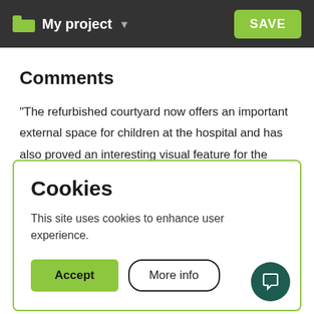My project ▾   SAVE
Comments
"The refurbished courtyard now offers an important external space for children at the hospital and has also proved an interesting visual feature for the wards on the upper floors which look on to the space. The courtyard is
Cookies
This site uses cookies to enhance user experience.
Accept   More info